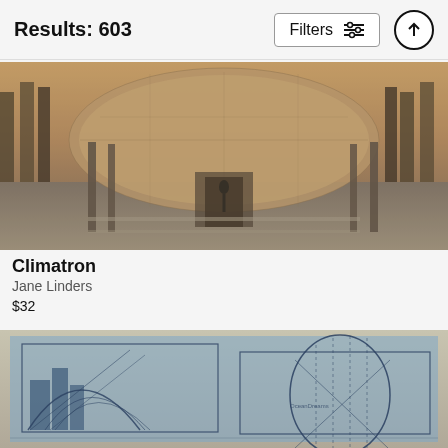Results: 603
[Figure (photo): Panoramic architectural rendering of the Climatron greenhouse dome at Missouri Botanical Garden by Jane Linders, in sepia/golden tones showing the geodesic dome structure surrounded by trees and formal gardens]
Climatron
Jane Linders
$32
[Figure (illustration): Blueprint-style cyanotype architectural drawing showing futuristic building designs with geometric arcs, curves, and structural diagrams overlaid on a city skyline]